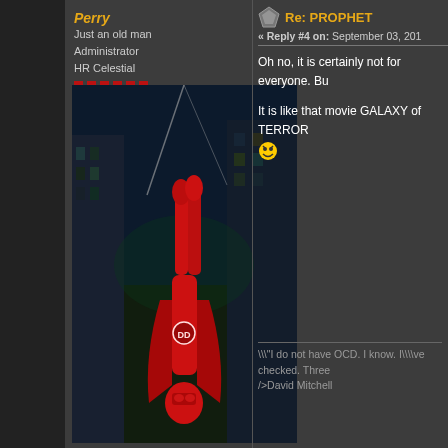Perry
Just an old man
Administrator
HR Celestial
Posts: 13460
[Figure (illustration): Comic book style illustration of Daredevil (red costume) falling upside-down against a dark cityscape background]
Re: PROPHET
« Reply #4 on: September 03, 201
Oh no, it is certainly not for everyone. Bu
It is like that movie GALAXY of TERROR
\\"I do not have OCD. I know. I\\\\ve checked. Three
/>David Mitchell
Pages: [1]   Go Up
Black-Rain V.2 by Crip~
Powe